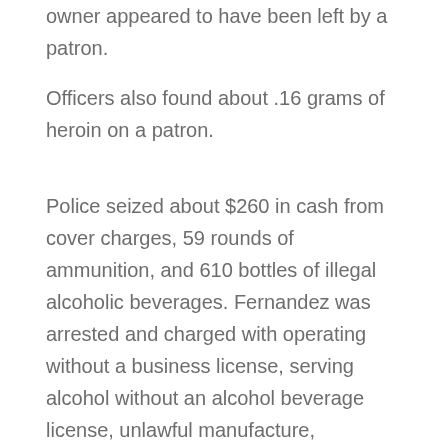owner appeared to have been left by a patron.
Officers also found about .16 grams of heroin on a patron.
Police seized about $260 in cash from cover charges, 59 rounds of ammunition, and 610 bottles of illegal alcoholic beverages. Fernandez was arrested and charged with operating without a business license, serving alcohol without an alcohol beverage license, unlawful manufacture, possession, and storage of alcoholic beverages, and unlawfully carrying a firearm on a liquor premises, among other business license charges.